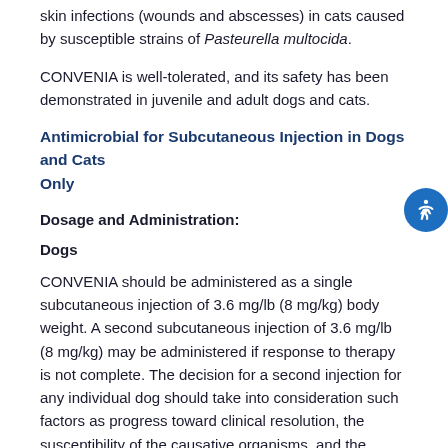skin infections (wounds and abscesses) in cats caused by susceptible strains of Pasteurella multocida.
CONVENIA is well-tolerated, and its safety has been demonstrated in juvenile and adult dogs and cats.
Antimicrobial for Subcutaneous Injection in Dogs and Cats Only
Dosage and Administration:
Dogs
CONVENIA should be administered as a single subcutaneous injection of 3.6 mg/lb (8 mg/kg) body weight. A second subcutaneous injection of 3.6 mg/lb (8 mg/kg) may be administered if response to therapy is not complete. The decision for a second injection for any individual dog should take into consideration such factors as progress toward clinical resolution, the susceptibility of the causative organisms, and the integrity of the dog's host-defense mechanisms. Therapeutic drug concentrations after the first injection are maintained for 7 days for S. intermedius infections and